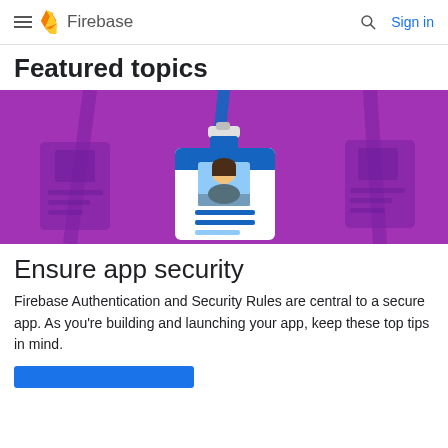Firebase
Featured topics
[Figure (illustration): Purple background illustration showing a person's ID badge/lanyard with a female avatar photo, surrounded by faded badge icons on either side]
Ensure app security
Firebase Authentication and Security Rules are central to a secure app. As you're building and launching your app, keep these top tips in mind.